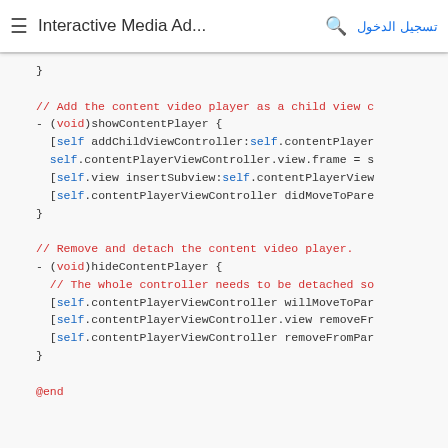≡  Interactive Media Ad...  🔍  تسجيل الدخول
}

// Add the content video player as a child view c
- (void)showContentPlayer {
  [self addChildViewController:self.contentPlayer
  self.contentPlayerViewController.view.frame = s
  [self.view insertSubview:self.contentPlayerView
  [self.contentPlayerViewController didMoveToPare
}

// Remove and detach the content video player.
- (void)hideContentPlayer {
  // The whole controller needs to be detached so
  [self.contentPlayerViewController willMoveToPar
  [self.contentPlayerViewController.view removeFr
  [self.contentPlayerViewController removeFromPar
}

@end